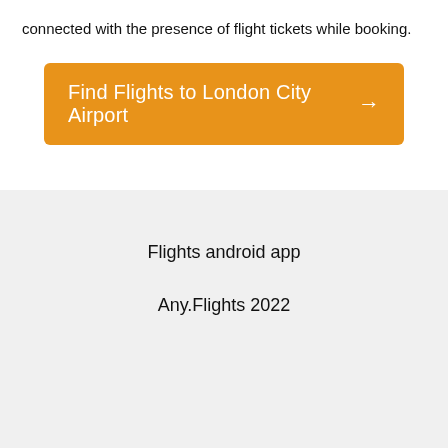connected with the presence of flight tickets while booking.
[Figure (other): Orange call-to-action button with text 'Find Flights to London City Airport' and right arrow]
Flights android app
Any.Flights 2022